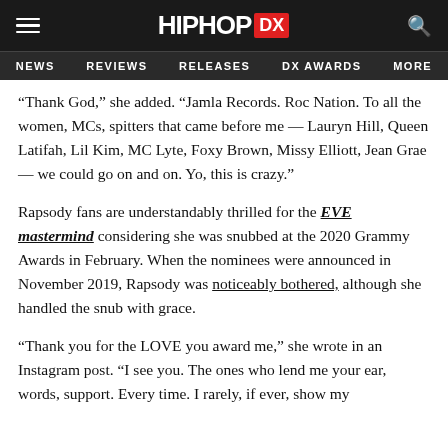HIPHOP DX — NEWS | REVIEWS | RELEASES | DX AWARDS | MORE
“Thank God,” she added. “Jamla Records. Roc Nation. To all the women, MCs, spitters that came before me — Lauryn Hill, Queen Latifah, Lil Kim, MC Lyte, Foxy Brown, Missy Elliott, Jean Grae — we could go on and on. Yo, this is crazy.”
Rapsody fans are understandably thrilled for the EVE mastermind considering she was snubbed at the 2020 Grammy Awards in February. When the nominees were announced in November 2019, Rapsody was noticeably bothered, although she handled the snub with grace.
“Thank you for the LOVE you award me,” she wrote in an Instagram post. “I see you. The ones who lend me your ear, words, support. Every time. I rarely, if ever, show my